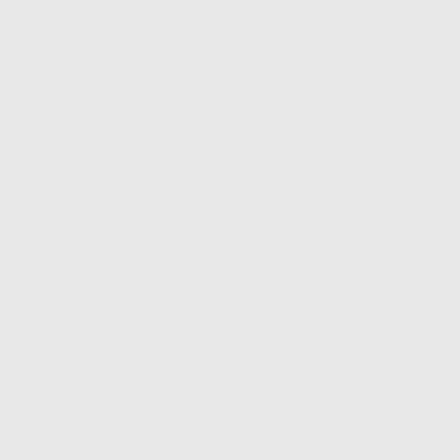And Shallum the son of Jabesh c he had reigned six months, and r
And the rest of the acts of Zecha Israel.
This was the word of the LORD, unto the fourth generation. And s
Shallum the son of Jabesh began reigned a full month in Samaria.
For Menahem the son of Gadi w besh in Samaria, and slew him, a
ANNOTATIONS AND REFLEC
our Bibles, that there was an inte confusion without any sovereign disputes about the succession, am of Jeroboam was established; by the fourth generation, was fulfil
We find, however, that Zechariah him to be slain by one of his sub many years before, as follows: I wicked usurper, as well as an ido
Amos vii. 9